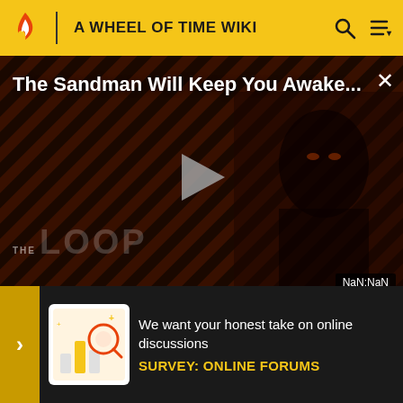A WHEEL OF TIME WIKI
[Figure (screenshot): Video player overlay showing 'The Sandman Will Keep You Awake...' with a dark stylized figure, diagonal stripe background, play button, THE LOOP logo, and NaN:NaN timestamp]
it was also the name of Lan's horse. The girl, revealing her true name to be Zarine Bashere, then adopted the nam
"Faile" reader wife. Perrin hich
[Figure (infographic): Survey banner: 'We want your honest take on online discussions' with SURVEY: ONLINE FORUMS call to action]